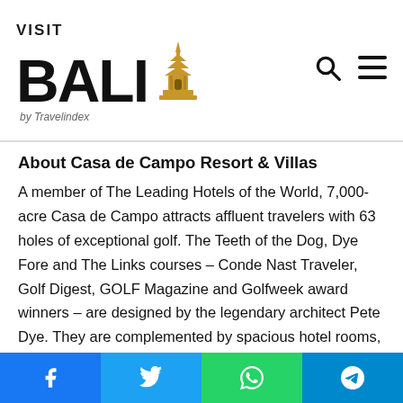VISIT BALI by Travelindex
About Casa de Campo Resort & Villas
A member of The Leading Hotels of the World, 7,000-acre Casa de Campo attracts affluent travelers with 63 holes of exceptional golf. The Teeth of the Dog, Dye Fore and The Links courses – Conde Nast Traveler, Golf Digest, GOLF Magazine and Golfweek award winners – are designed by the legendary architect Pete Dye. They are complemented by spacious hotel rooms, suites and luxury villas. Expertly prepared cuisine from around the world, a 370-slip Marina & Yacht Club, Polo & Equestrian Club, the La Terraza Tennis Center, 245-acre Shooting Club and Altos de Chavon – an artisan's village modeled after a 16th century Mediterranean
Facebook Twitter WhatsApp Telegram